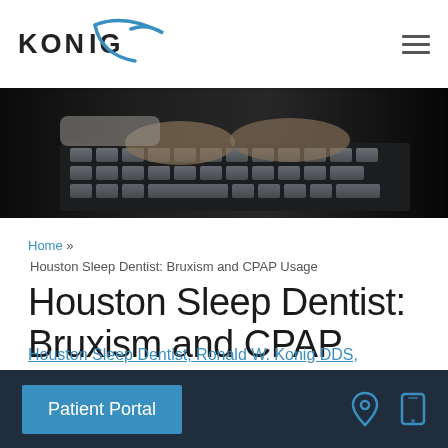KONIG
[Figure (photo): Close-up photograph of hands typing on a laptop keyboard, dark moody lighting]
Home » Houston Sleep Dentist: Bruxism and CPAP Usage
Houston Sleep Dentist: Bruxism and CPAP Usage
February 10, 2014 / TMJ, Sleep Apnea
Houston Sleep Dentist, Ronald W. Konig DDS,
Patient Portal